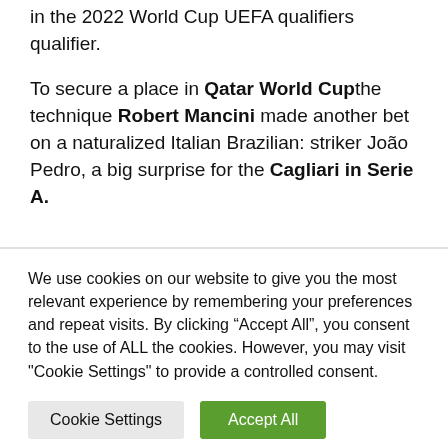in the 2022 World Cup UEFA qualifiers qualifier.
To secure a place in Qatar World Cupthe technique Robert Mancini made another bet on a naturalized Italian Brazilian: striker João Pedro, a big surprise for the Cagliari in Serie A.
We use cookies on our website to give you the most relevant experience by remembering your preferences and repeat visits. By clicking “Accept All”, you consent to the use of ALL the cookies. However, you may visit "Cookie Settings" to provide a controlled consent.